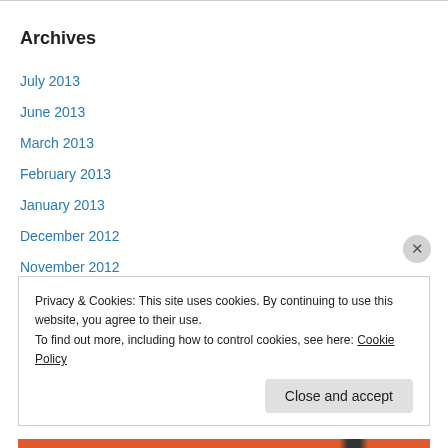Archives
July 2013
June 2013
March 2013
February 2013
January 2013
December 2012
November 2012
October 2012
September 2012
August 2012
Privacy & Cookies: This site uses cookies. By continuing to use this website, you agree to their use. To find out more, including how to control cookies, see here: Cookie Policy
Close and accept